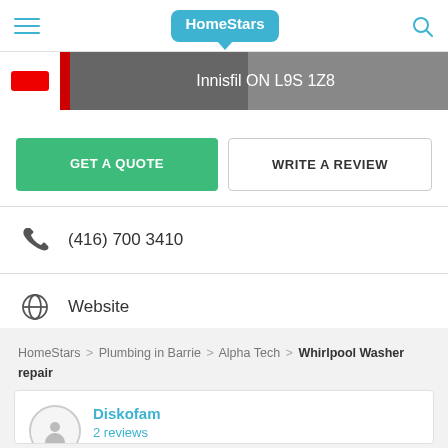HomeStars
[Figure (screenshot): Banner image showing location text: Innisfil ON L9S 1Z8]
GET A QUOTE
WRITE A REVIEW
(416) 700 3410
Website
HomeStars > Plumbing in Barrie > Alpha Tech > Whirlpool Washer repair
Diskofam
2 reviews
Richmond Hill, ON